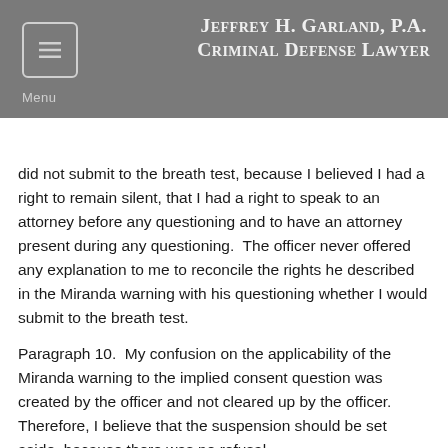Jeffrey H. Garland, P.A. Criminal Defense Lawyer
did not submit to the breath test, because I believed I had a right to remain silent, that I had a right to speak to an attorney before any questioning and to have an attorney present during any questioning.  The officer never offered any explanation to me to reconcile the rights he described in the Miranda warning with his questioning whether I would submit to the breath test.
Paragraph 10.  My confusion on the applicability of the Miranda warning to the implied consent question was created by the officer and not cleared up by the officer.  Therefore, I believe that the suspension should be set aside, because there was no refusal.